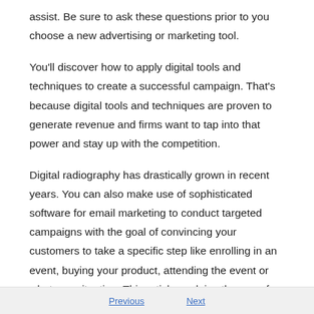assist. Be sure to ask these questions prior to you choose a new advertising or marketing tool.
You'll discover how to apply digital tools and techniques to create a successful campaign. That's because digital tools and techniques are proven to generate revenue and firms want to tap into that power and stay up with the competition.
Digital radiography has drastically grown in recent years. You can also make use of sophisticated software for email marketing to conduct targeted campaigns with the goal of convincing your customers to take a specific step like enrolling in an event, buying your product, attending the event or whatever situation. This article explains the use of email marketing, social media marketing and affiliate marketing and how to make use of social media tools such as Twitter podcasting, blogging and podcasting.
Previous   Next